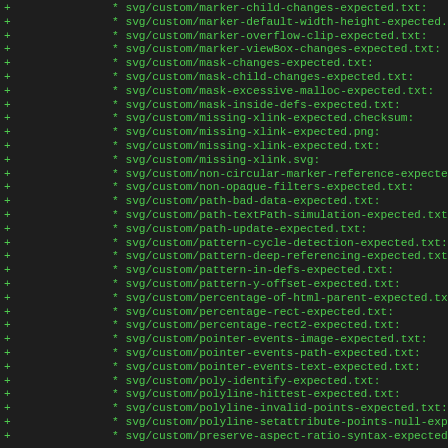[Figure (screenshot): A diff/code listing showing added files (lines starting with '+') in a version control diff. All lines show green-colored text on dark background, listing SVG test expected result files in the svg/custom/ directory.]